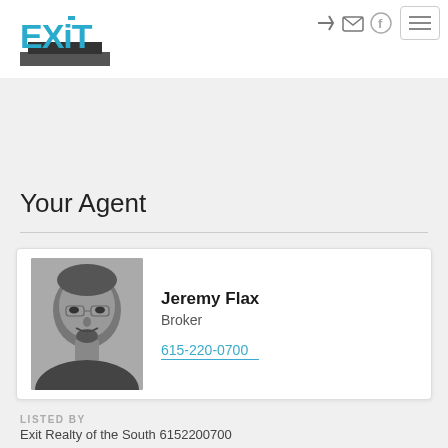[Figure (logo): EXIT Realty logo with teal/blue stylized text and building graphic]
[Figure (illustration): Navigation icons: login arrow, envelope/email icon, Facebook circle icon, and hamburger menu button]
Your Agent
[Figure (photo): Black and white headshot photo of Jeremy Flax, a man with short dark hair and a goatee, smiling]
Jeremy Flax
Broker
615-220-0700
LISTED BY
Exit Realty of the South  6152200700